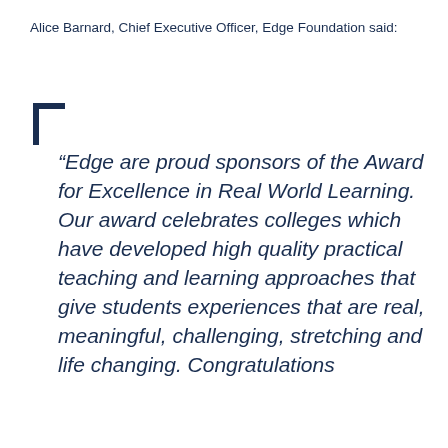Alice Barnard, Chief Executive Officer, Edge Foundation said:
“Edge are proud sponsors of the Award for Excellence in Real World Learning. Our award celebrates colleges which have developed high quality practical teaching and learning approaches that give students experiences that are real, meaningful, challenging, stretching and life changing. Congratulations